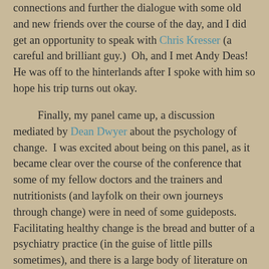connections and further the dialogue with some old and new friends over the course of the day, and I did get an opportunity to speak with Chris Kresser (a careful and brilliant guy.)  Oh, and I met Andy Deas!  He was off to the hinterlands after I spoke with him so hope his trip turns out okay.
Finally, my panel came up, a discussion mediated by Dean Dwyer about the psychology of change.  I was excited about being on this panel, as it became clear over the course of the conference that some of my fellow doctors and the trainers and nutritionists (and layfolk on their own journeys through change) were in need of some guideposts.  Facilitating healthy change is the bread and butter of a psychiatry practice (in the guise of little pills sometimes), and there is a large body of literature on the subject.
I think all of us thrilled with the success we have had with an ancestral health influenced diet and lifestyle are happy to extol the benefits to the rooftops, buying copies of The Paleo Solution or the Primal Blueprint for all of